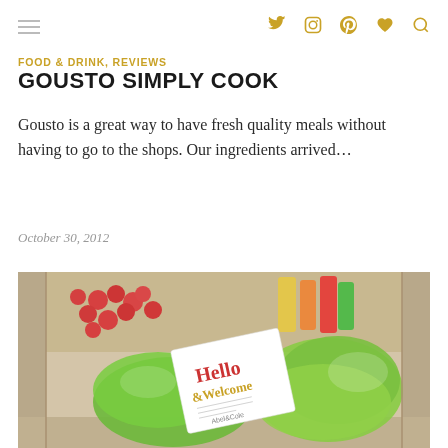FOOD & DRINK, REVIEWS
GOUSTO SIMPLY COOK
Gousto is a great way to have fresh quality meals without having to go to the shops. Our ingredients arrived…
October 30, 2012
[Figure (photo): An open cardboard delivery box from Gousto containing fresh vegetables — cherry tomatoes, green salad leaves in plastic bags, and other produce. A white card reading 'Hello &Welcome' is prominently placed on top.]